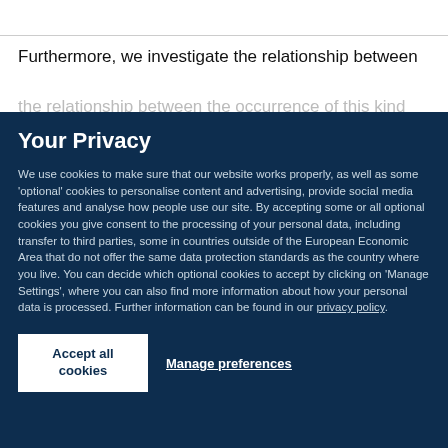Furthermore, we investigate the relationship between
the relationship between... (partially visible, faded)
Your Privacy
We use cookies to make sure that our website works properly, as well as some 'optional' cookies to personalise content and advertising, provide social media features and analyse how people use our site. By accepting some or all optional cookies you give consent to the processing of your personal data, including transfer to third parties, some in countries outside of the European Economic Area that do not offer the same data protection standards as the country where you live. You can decide which optional cookies to accept by clicking on 'Manage Settings', where you can also find more information about how your personal data is processed. Further information can be found in our privacy policy.
Accept all cookies
Manage preferences